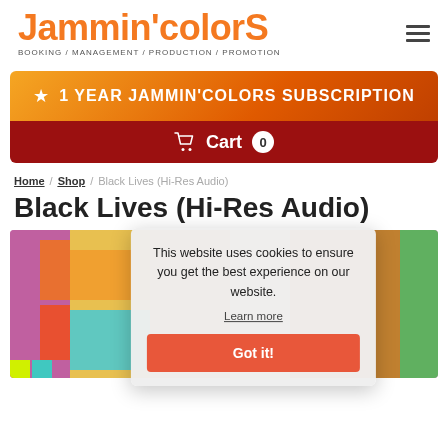[Figure (logo): Jammin'colorS logo in orange with tagline BOOKING / MANAGEMENT / PRODUCTION / PROMOTION]
[Figure (infographic): 1 YEAR JAMMIN'COLORS SUBSCRIPTION banner with orange gradient and dark red Cart 0 button]
Home / Shop / Black Lives (Hi-Res Audio)
Black Lives (Hi-Res Audio)
[Figure (photo): Colorful album art collage in background]
This website uses cookies to ensure you get the best experience on our website. Learn more Got it!